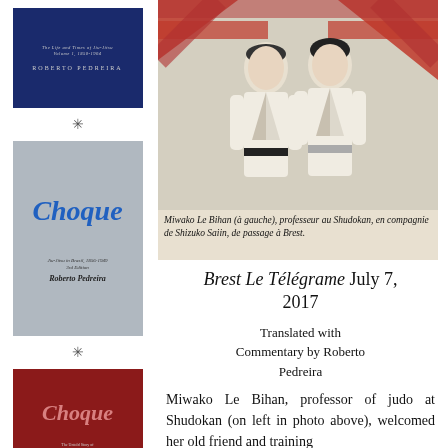[Figure (photo): Dark blue book cover with white/gray text reading 'The Life and Times of Jiu-Jitsu Volume 1, 1850-1904' and 'Roberto Pedreira']
[Figure (photo): Gray book cover with blue italic title 'Choque', subtitle text 'Jiu-Jitsu in Brazil, 1856-1949, 3rd Edition' and 'Roberto Pedreira']
[Figure (photo): Red book cover with light red italic title 'Choque', subtitle text about 'The Untold Story of Jiu-Jitsu in Brazil Volume 1, 1856-1949' and 'Roberto Pedreira']
[Figure (photo): Black and white newspaper photo of two people in judo gi (judogi) posing together with red diagonal banner/flag in background]
Miwako Le Bihan (à gauche), professeur au Shudokan, en compagnie de Shizuko Saiin, de passage à Brest.
Brest Le Télégrame July 7, 2017
Translated with Commentary by Roberto Pedreira
Miwako Le Bihan, professor of judo at Shudokan (on left in photo above), welcomed her old friend and training companion Shizuko Saiin...